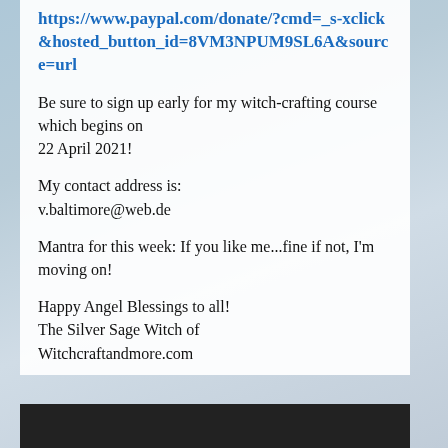https://www.paypal.com/donate/?cmd=_s-xclick&hosted_button_id=8VM3NPUM9SL6A&source=url
Be sure to sign up early for my witch-crafting course which begins on
22 April 2021!
My contact address is:
v.baltimore@web.de
Mantra for this week: If you like me...fine if not, I'm moving on!
Happy Angel Blessings to all!
The Silver Sage Witch of
Witchcraftandmore.com
[Figure (photo): Dark photo at the bottom of the page, partially visible]